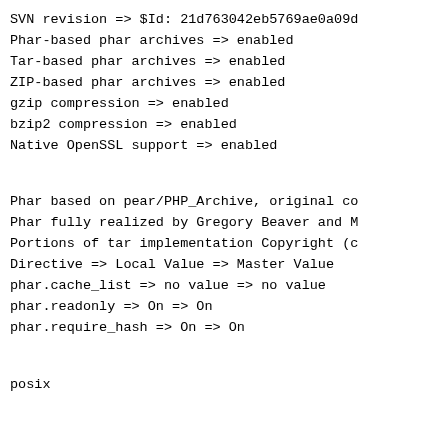SVN revision => $Id: 21d763042eb5769ae0a09d
Phar-based phar archives => enabled
Tar-based phar archives => enabled
ZIP-based phar archives => enabled
gzip compression => enabled
bzip2 compression => enabled
Native OpenSSL support => enabled
Phar based on pear/PHP_Archive, original co
Phar fully realized by Gregory Beaver and M
Portions of tar implementation Copyright (c
Directive => Local Value => Master Value
phar.cache_list => no value => no value
phar.readonly => On => On
phar.require_hash => On => On
posix